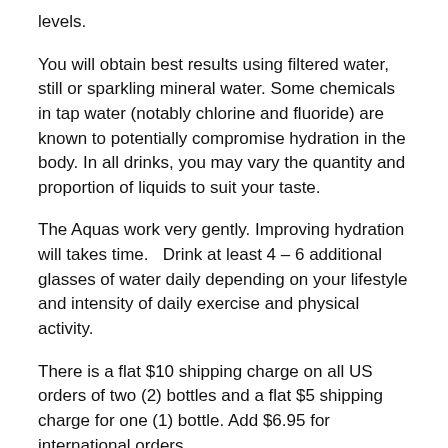levels.
You will obtain best results using filtered water, still or sparkling mineral water. Some chemicals in tap water (notably chlorine and fluoride) are known to potentially compromise hydration in the body. In all drinks, you may vary the quantity and proportion of liquids to suit your taste.
The Aquas work very gently. Improving hydration will takes time.   Drink at least 4 – 6 additional glasses of water daily depending on your lifestyle and intensity of daily exercise and physical activity.
There is a flat $10 shipping charge on all US orders of two (2) bottles and a flat $5 shipping charge for one (1) bottle. Add $6.95 for international orders.